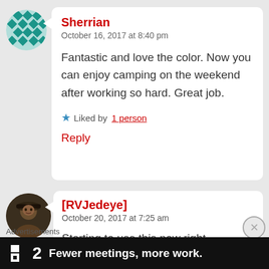[Figure (illustration): Avatar/profile image of user Sherrian — circular green patterned icon]
Sherrian
October 16, 2017 at 8:40 pm

Fantastic and love the color. Now you can enjoy camping on the weekend after working so hard. Great job.

★ Liked by 1 person

Reply
[Figure (photo): Dark circular profile photo of user RVJedeye showing a person with a hat]
[RVJedeye]
October 20, 2017 at 7:25 am

Starting to use this now right
Advertisements
[Figure (screenshot): Advertisement banner: dark background with '▪2' logo and text 'Fewer meetings, more work.']